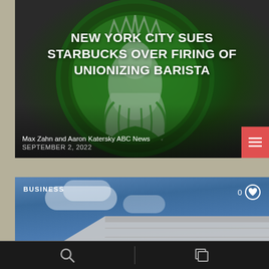[Figure (photo): Starbucks logo (green mermaid on circular sign) with dark background, used as article hero image]
NEW YORK CITY SUES STARBUCKS OVER FIRING OF UNIONIZING BARISTA
Max Zahn and Aaron Katersky ABC News
SEPTEMBER 2, 2022
[Figure (photo): Blue sky with clouds and a building rooftop/structure visible, second article card with BUSINESS label and like count of 0]
Search | Layers/Pages navigation icons